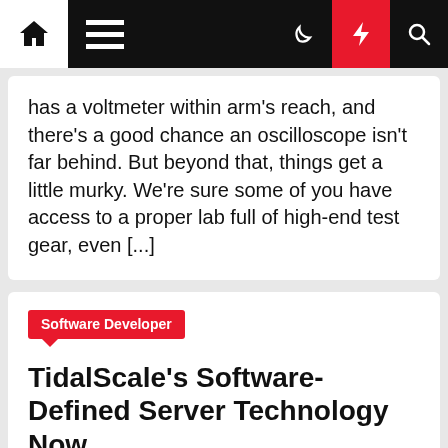Navigation bar with home, menu, dark mode, lightning, and search icons
has a voltmeter within arm's reach, and there's a good chance an oscilloscope isn't far behind. But beyond that, things get a little murky. We're sure some of you have access to a proper lab full of high-end test gear, even [...]
Software Developer
TidalScale's Software-Defined Server Technology Now
Evoz Tech  4 months ago